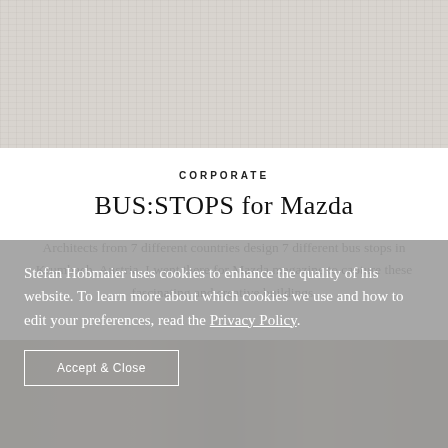[Figure (photo): Top portion: light grey textured fabric or linen background image, partially cropped]
CORPORATE
BUS:STOPS for Mazda
Architects from 7 different countries design 7 different bus stops in Krumbach, Austria. I went there for Mazda magazine to capture these fascinating and creative buildings.
[Figure (photo): Bottom portion: partial photograph showing dark brown/golden interior architectural details, cropped]
Stefan Hobmaier uses cookies to enhance the quality of his website. To learn more about which cookies we use and how to edit your preferences, read the Privacy Policy.
Accept & Close